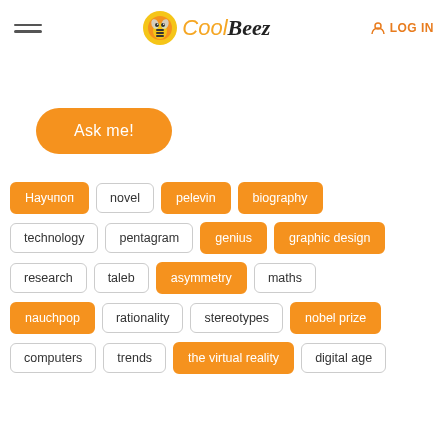CoolBeez | LOG IN
Ask me!
Научпоп
novel
pelevin
biography
technology
pentagram
genius
graphic design
research
taleb
asymmetry
maths
nauchpop
rationality
stereotypes
nobel prize
computers
trends
the virtual reality
digital age